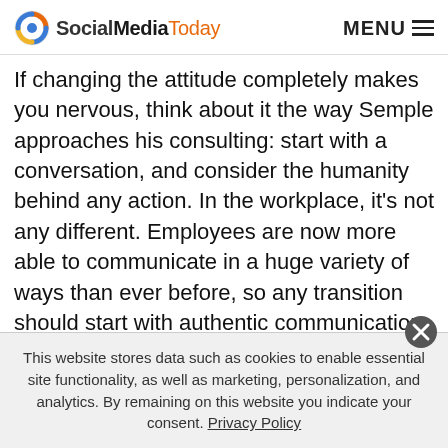SocialMediaToday  MENU
If changing the attitude completely makes you nervous, think about it the way Semple approaches his consulting: start with a conversation, and consider the humanity behind any action. In the workplace, it's not any different. Employees are now more able to communicate in a huge variety of ways than ever before, so any transition should start with authentic communication.
Are you ready to embrace the future of work? Tools like IBM Verse and the Salesforce of the
This website stores data such as cookies to enable essential site functionality, as well as marketing, personalization, and analytics. By remaining on this website you indicate your consent. Privacy Policy